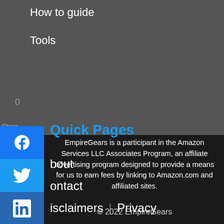How to guide
Tools
Quick Pages
bout
ontact
isclaimers | Privacy
EmpireGears is a participant in the Amazon Services LLC Associates Program, an affiliate advertising program designed to provide a means for us to earn fees by linking to Amazon.com and affiliated sites.
© 2022 EmpireGears